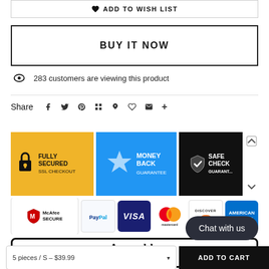♥ ADD TO WISH LIST
BUY IT NOW
283 customers are viewing this product
Share
[Figure (infographic): Three trust badges: Fully Secured SSL Checkout (yellow), Money Back Guarantee (blue with star), Safe Check Guarantee (black with shield)]
[Figure (infographic): Payment logos: McAfee Secure, PayPal, Visa, Mastercard, Discover, American Express]
Amamble
EXTRA DISCOUNT F...
5 pieces / S - $39.99
ADD TO CART
Chat with us